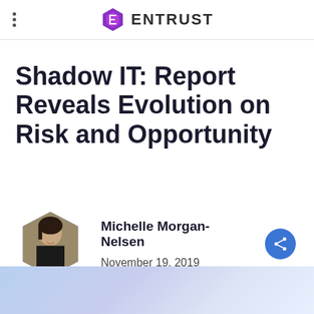ENTRUST
Shadow IT: Report Reveals Evolution on Risk and Opportunity
Michelle Morgan-Nelsen
November 19, 2019
[Figure (photo): Bottom decorative image with light blue and purple tones, possibly showing blurred technology objects]